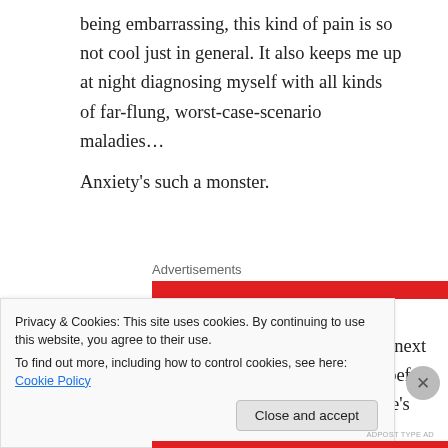being embarrassing, this kind of pain is so not cool just in general. It also keeps me up at night diagnosing myself with all kinds of far-flung, worst-case-scenario maladies… Anxiety's such a monster.
[Figure (other): Advertisements label with a red banner ad strip partially showing an M&M's logo]
I won't let just any old doctor perform my next surgery though. I've been down that road before and, just, no. It's a challenge, because there's very, very, VERY few doctors out
Privacy & Cookies: This site uses cookies. By continuing to use this website, you agree to their use.
To find out more, including how to control cookies, see here: Cookie Policy